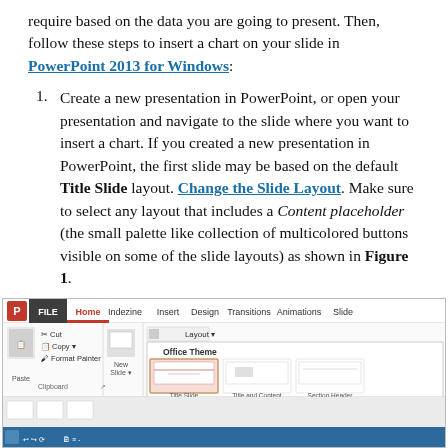require based on the data you are going to present. Then, follow these steps to insert a chart on your slide in PowerPoint 2013 for Windows:
Create a new presentation in PowerPoint, or open your presentation and navigate to the slide where you want to insert a chart. If you created a new presentation in PowerPoint, the first slide may be based on the default Title Slide layout. Change the Slide Layout. Make sure to select any layout that includes a Content placeholder (the small palette like collection of multicolored buttons visible on some of the slide layouts) as shown in Figure 1.
[Figure (screenshot): Screenshot of PowerPoint 2013 ribbon interface showing the Home tab with File, Home, Indezine, Insert, Design, Transitions, Animations, Slide tabs. Below shows Clipboard group with Paste, Cut, Copy, Format Painter options, and a Layout dropdown showing Office Theme with slide layout thumbnails including Title Slide, Title and Content, and Section Header.]